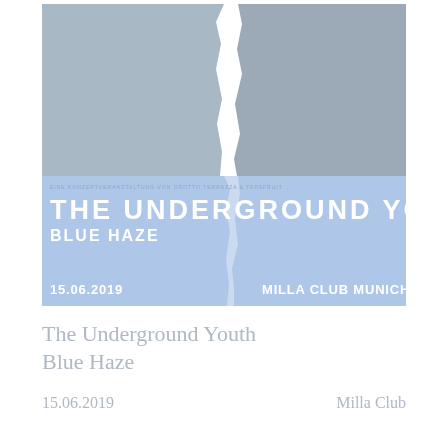[Figure (illustration): Concert poster for The Underground Youth with Blue Haze. The top half features a grey-toned torn paper image against a light blue background. The bottom light blue section shows event details: 'EINE KONZERTVERANSTALTUNG VON GROTTO TERRAZZA & TAPSFRUIT', 'THE UNDERGROUND YOUTH', 'BLUE HAZE', '15.06.2019', 'MILLA CLUB MUNICH'.]
The Underground Youth Blue Haze
15.06.2019   Milla Club